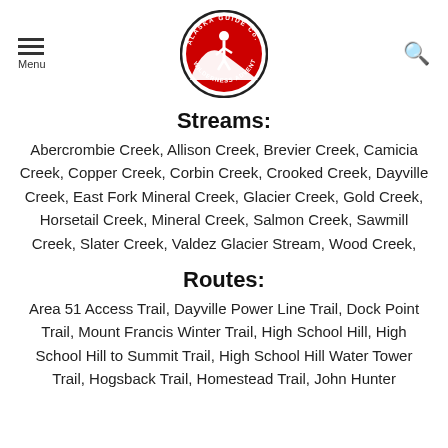Menu | Alaska Guide Co. Wilderness Adventures logo | Search
Streams:
Abercrombie Creek, Allison Creek, Brevier Creek, Camicia Creek, Copper Creek, Corbin Creek, Crooked Creek, Dayville Creek, East Fork Mineral Creek, Glacier Creek, Gold Creek, Horsetail Creek, Mineral Creek, Salmon Creek, Sawmill Creek, Slater Creek, Valdez Glacier Stream, Wood Creek,
Routes:
Area 51 Access Trail, Dayville Power Line Trail, Dock Point Trail, Mount Francis Winter Trail, High School Hill, High School Hill to Summit Trail, High School Hill Water Tower Trail, Hogsback Trail, Homestead Trail, John Hunter